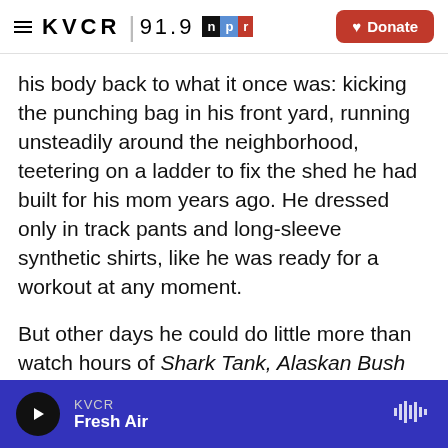KVCR 91.9 | NPR | Donate
his body back to what it once was: kicking the punching bag in his front yard, running unsteadily around the neighborhood, teetering on a ladder to fix the shed he had built for his mom years ago. He dressed only in track pants and long-sleeve synthetic shirts, like he was ready for a workout at any moment.
But other days he could do little more than watch hours of Shark Tank, Alaskan Bush People or CNBC, daydreaming of what might have been had life unspooled differently for him.
KVCR | Fresh Air